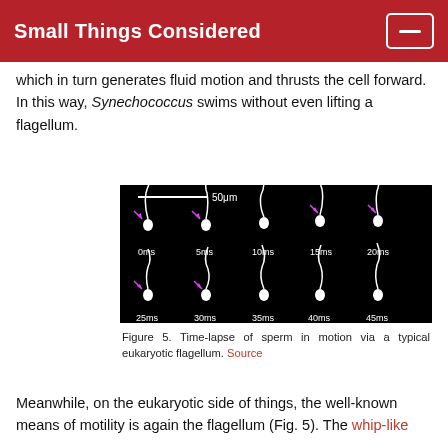Small Things Considered
which in turn generates fluid motion and thrusts the cell forward. In this way, Synechococcus swims without even lifting a flagellum.
[Figure (photo): Time-lapse microscopy image on black background showing sperm cells in motion at 10 time points: 0ms, 5ms, 10ms, 15ms, 20ms (top row) and 25ms, 30ms, 35ms, 40ms, 45ms (bottom row). Pink arrows point to the sperm head in the first two frames of each row. A scale bar labeled 50μm is shown at top.]
Figure 5. Time-lapse of sperm in motion via a typical eukaryotic flagellum. Source
Meanwhile, on the eukaryotic side of things, the well-known means of motility is again the flagellum (Fig. 5). The whip-like